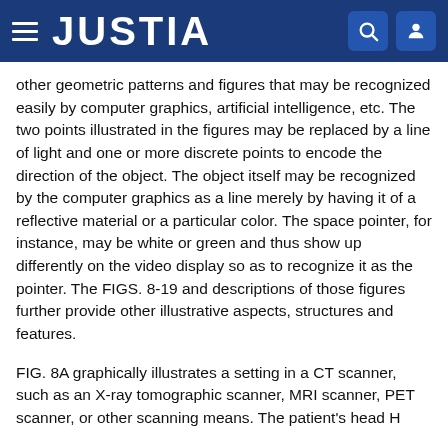JUSTIA
other geometric patterns and figures that may be recognized easily by computer graphics, artificial intelligence, etc. The two points illustrated in the figures may be replaced by a line of light and one or more discrete points to encode the direction of the object. The object itself may be recognized by the computer graphics as a line merely by having it of a reflective material or a particular color. The space pointer, for instance, may be white or green and thus show up differently on the video display so as to recognize it as the pointer. The FIGS. 8-19 and descriptions of those figures further provide other illustrative aspects, structures and features.
FIG. 8A graphically illustrates a setting in a CT scanner, such as an X-ray tomographic scanner, MRI scanner, PET scanner, or other scanning means. The patient's head H